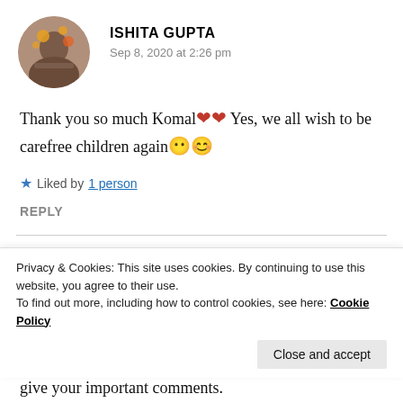ISHITA GUPTA
Sep 8, 2020 at 2:26 pm
Thank you so much Komal❤️❤️ Yes, we all wish to be carefree children again😶😊
★ Liked by 1 person
REPLY
VIKAS SENGAR
Privacy & Cookies: This site uses cookies. By continuing to use this website, you agree to their use.
To find out more, including how to control cookies, see here: Cookie Policy
Close and accept
give your important comments.